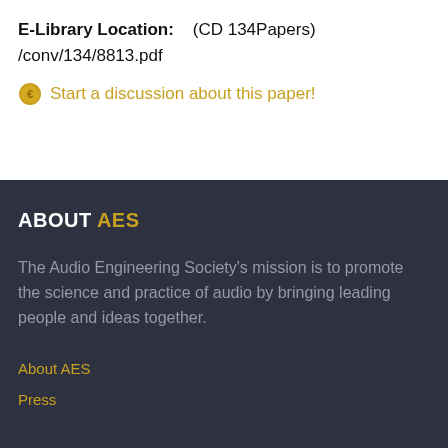E-Library Location:    (CD 134Papers) /conv/134/8813.pdf
Start a discussion about this paper!
ABOUT AES
The Audio Engineering Society's mission is to promote the science and practice of audio by bringing leading people and ideas together.
About AES
Press